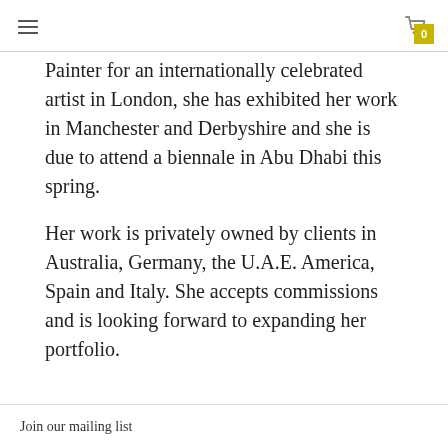≡   [cart icon] 0
Painter for an internationally celebrated artist in London, she has exhibited her work in Manchester and Derbyshire and she is due to attend a biennale in Abu Dhabi this spring.
Her work is privately owned by clients in Australia, Germany, the U.A.E. America, Spain and Italy. She accepts commissions and is looking forward to expanding her portfolio.
Join our mailing list